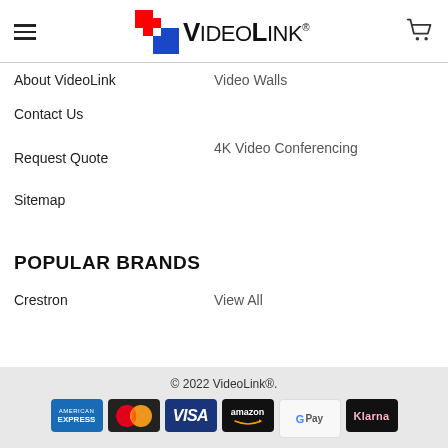VideoLink® — header with hamburger menu, logo, and cart icon
About VideoLink
Video Walls
Contact Us
4K Video Conferencing
Request Quote
Sitemap
POPULAR BRANDS
Crestron
View All
© 2022 VideoLink®.